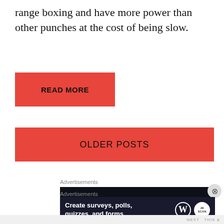range boxing and have more power than other punches at the cost of being slow.
READ MORE
OLDER POSTS
Advertisements
[Figure (screenshot): Dark advertisement banner with TV2 logo and partial text reading 'Faeur mesting' on black background]
Advertisements
[Figure (screenshot): Dark advertisement banner reading 'Create surveys, polls, quizzes, and forms.' with WordPress and JourneyBridge icons]